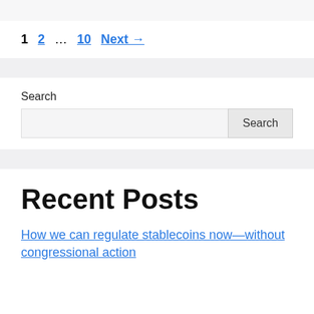1  2  ...  10  Next →
Search
Recent Posts
How we can regulate stablecoins now—without congressional action